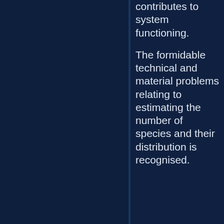contributes to system functioning. The formidable technical and material problems relating to estimating the number of species and their distribution is recognised.